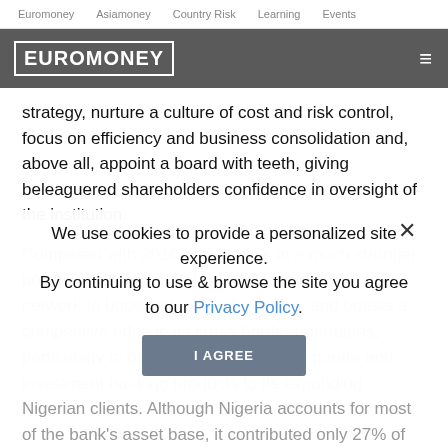Euromoney   Asiamoney   Country Risk   Learning   Events
EUROMONEY
strategy, nurture a culture of cost and risk control, focus on efficiency and business consolidation and, above all, appoint a board with teeth, giving beleaguered shareholders confidence in oversight of the institution.
Compared with 2010, Ecobank is in a much stronger position in its Nigerian franchise, with a large retail network to boost net interest margins, and boasts a competitive edge in its cross-border operations, particularly to provide cross-border corporate and investment banking products to its expanding Nigerian clients. Although Nigeria accounts for most of the bank's asset base, it contributed only 27% of profit before tax in the third quarter of last year, highlighting the need for cost
We use cookies to provide a personalized site experience.
By continuing to use & browse the site you agree to our Privacy Policy.
I AGREE